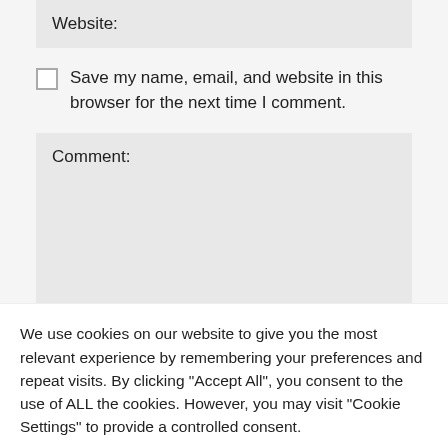Website:
Save my name, email, and website in this browser for the next time I comment.
Comment:
We use cookies on our website to give you the most relevant experience by remembering your preferences and repeat visits. By clicking "Accept All", you consent to the use of ALL the cookies. However, you may visit "Cookie Settings" to provide a controlled consent.
Cookie Settings
Accept All